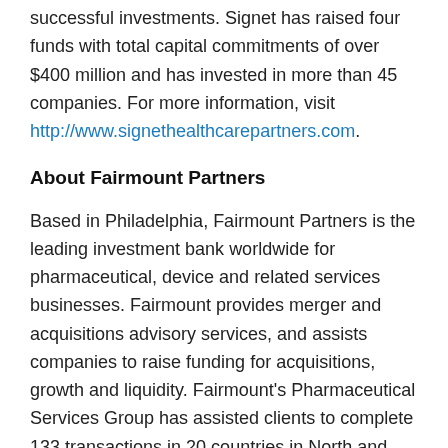successful investments. Signet has raised four funds with total capital commitments of over $400 million and has invested in more than 45 companies. For more information, visit http://www.signethealthcarepartners.com.
About Fairmount Partners
Based in Philadelphia, Fairmount Partners is the leading investment bank worldwide for pharmaceutical, device and related services businesses. Fairmount provides merger and acquisitions advisory services, and assists companies to raise funding for acquisitions, growth and liquidity. Fairmount's Pharmaceutical Services Group has assisted clients to complete 133 transactions in 20 countries in North and South America, Europe, Asia and Australia. Further information is available at www.fairmountpartners.com.